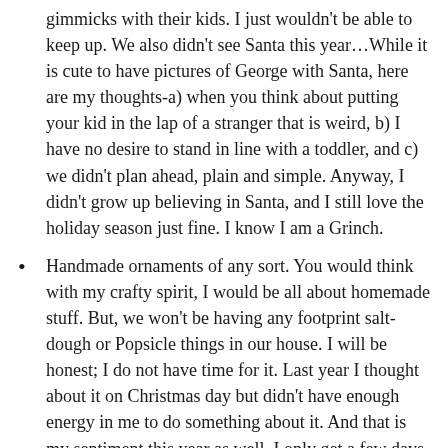gimmicks with their kids. I just wouldn't be able to keep up. We also didn't see Santa this year…While it is cute to have pictures of George with Santa, here are my thoughts-a) when you think about putting your kid in the lap of a stranger that is weird, b) I have no desire to stand in line with a toddler, and c) we didn't plan ahead, plain and simple. Anyway, I didn't grow up believing in Santa, and I still love the holiday season just fine. I know I am a Grinch.
Handmade ornaments of any sort. You would think with my crafty spirit, I would be all about homemade stuff. But, we won't be having any footprint salt-dough or Popsicle things in our house. I will be honest; I do not have time for it. Last year I thought about it on Christmas day but didn't have enough energy in me to do something about it. And that is my sentiment this year as well. I only get a few days off, and I don't want to spend it forcing everyone to do crafts. I am not against doing them, just against organising them. So unless